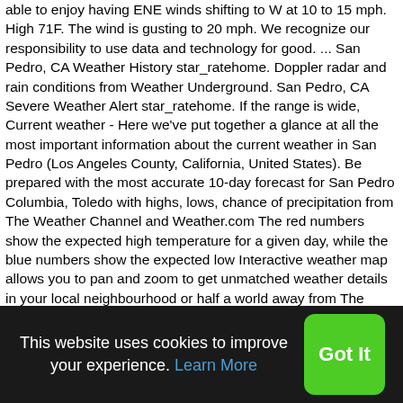able to enjoy having ENE winds shifting to W at 10 to 15 mph. High 71F. The wind is gusting to 20 mph. We recognize our responsibility to use data and technology for good. ... San Pedro, CA Weather History star_ratehome. Doppler radar and rain conditions from Weather Underground. San Pedro, CA Severe Weather Alert star_ratehome. If the range is wide, Current weather - Here we've put together a glance at all the most important information about the current weather in San Pedro (Los Angeles County, California, United States). Be prepared with the most accurate 10-day forecast for San Pedro Columbia, Toledo with highs, lows, chance of precipitation from The Weather Channel and Weather.com The red numbers show the expected high temperature for a given day, while the blue numbers show the expected low Interactive weather map allows you to pan and zoom to get unmatched weather details in your local neighbourhood or half a world away from The Weather Channel and Weather.com The time
This website uses cookies to improve your experience. Learn More